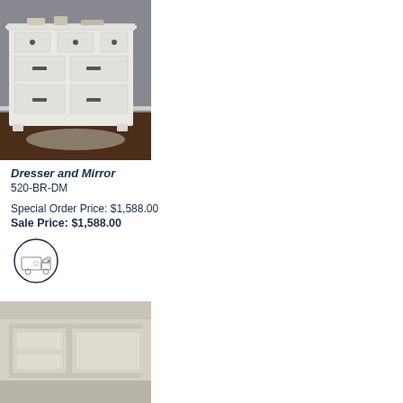[Figure (photo): White vintage-style dresser with multiple drawers and dark hardware, displayed in a room with dark wood flooring and gray walls]
Dresser and Mirror
520-BR-DM
Special Order Price: $1,588.00
Sale Price: $1,588.00
[Figure (illustration): Cartoon delivery truck icon inside a circle border]
[Figure (photo): Partial view of another bedroom furniture piece at the bottom of the page]